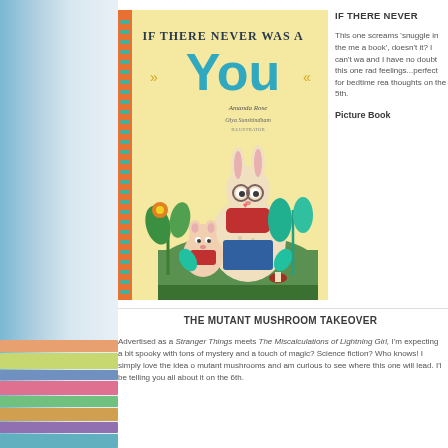[Figure (illustration): Book cover for 'If There Never Was a You' showing illustrated rabbit characters in a garden setting with flowers and plants, colorful and whimsical art style]
IF THERE NEVER
This one screams 'snuggle in the me a book', doesn't it? I can't wa and I have no doubt this one rad feelings...perfect for bedtime rea thoughts on the 5th.
Picture Book
THE MUTANT MUSHROOM TAKEOVER
Advertised as a Stranger Things meets The Miscalculations of Lightning Girl, I'm expecting a bit spooky with tons of mystery and a touch of magic? Science fiction? Who knows! I simply love the idea of mutant mushrooms and am curious to see where this one will lead. I'll be telling you all about it on the 6th.